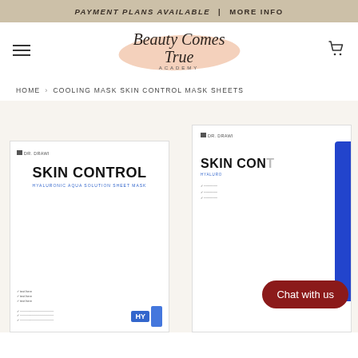PAYMENT PLANS AVAILABLE | MORE INFO
[Figure (logo): Beauty Comes True Academy logo with script font on peach brush stroke background]
HOME › COOLING MASK SKIN CONTROL MASK SHEETS
[Figure (photo): Two Dr. Drawing Skin Control Hyaluronic Aqua Solution Sheet Mask packages shown side by side. Left package is a white flat pouch fully visible. Right package is a box partially obscured by blue tab on right side. Both show 'SKIN CONTROL' in bold text and 'HYALURONIC AQUA SOLUTION SHEET MASK' in blue text. A red rounded rectangle 'Chat with us' button overlays the bottom right.]